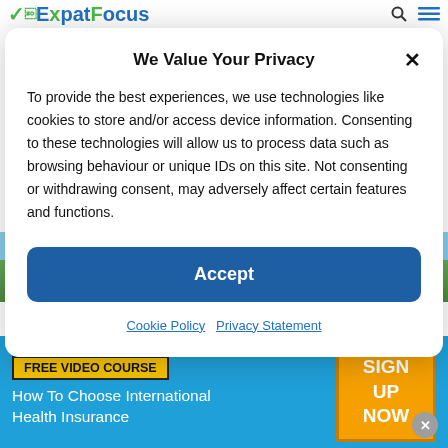ExpatFocus
What Quality Of Healthcare Can You Expect In Russia?
We Value Your Privacy
To provide the best experiences, we use technologies like cookies to store and/or access device information. Consenting to these technologies will allow us to process data such as browsing behaviour or unique IDs on this site. Not consenting or withdrawing consent, may adversely affect certain features and functions.
Accept
Cookie Policy   Privacy Statement
FREE VIDEO COURSE
How To Choose International Health Insurance
SIGN UP NOW